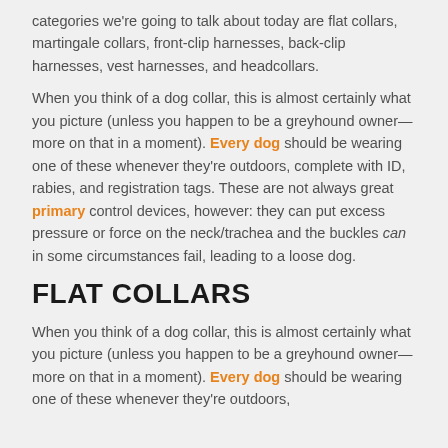categories we're going to talk about today are flat collars, martingale collars, front-clip harnesses, back-clip harnesses, vest harnesses, and headcollars.
When you think of a dog collar, this is almost certainly what you picture (unless you happen to be a greyhound owner— more on that in a moment). Every dog should be wearing one of these whenever they're outdoors, complete with ID, rabies, and registration tags. These are not always great primary control devices, however: they can put excess pressure or force on the neck/trachea and the buckles can in some circumstances fail, leading to a loose dog.
FLAT COLLARS
When you think of a dog collar, this is almost certainly what you picture (unless you happen to be a greyhound owner— more on that in a moment). Every dog should be wearing one of these whenever they're outdoors,